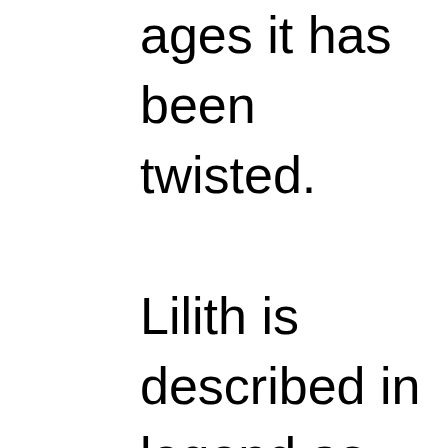ages it has been twisted. Lilith is described in legend as the original woman, before Eve